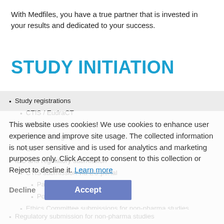With Medfiles, you have a true partner that is invested in your results and dedicated to your success.
STUDY INITIATION
Study registrations
CTIS / EudraCT
EFSA
ClinicaTrial.gov
Etc
IEC and regulatory submission
CTIS submission via EU portal
Part I and Part II documents
Portal follow-up
Ethics Committee submissions for non-pharma studies
Regulatory submission for non-pharma studies